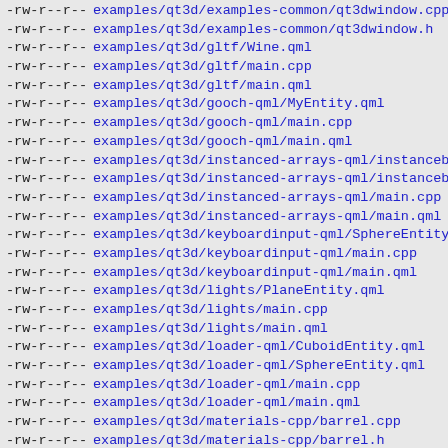-rw-r--r-- examples/qt3d/examples-common/qt3dwindow.cpp
-rw-r--r-- examples/qt3d/examples-common/qt3dwindow.h
-rw-r--r-- examples/qt3d/gltf/Wine.qml
-rw-r--r-- examples/qt3d/gltf/main.cpp
-rw-r--r-- examples/qt3d/gltf/main.qml
-rw-r--r-- examples/qt3d/gooch-qml/MyEntity.qml
-rw-r--r-- examples/qt3d/gooch-qml/main.cpp
-rw-r--r-- examples/qt3d/gooch-qml/main.qml
-rw-r--r-- examples/qt3d/instanced-arrays-qml/instancebuffer.cpp
-rw-r--r-- examples/qt3d/instanced-arrays-qml/instancebuffer.h
-rw-r--r-- examples/qt3d/instanced-arrays-qml/main.cpp
-rw-r--r-- examples/qt3d/instanced-arrays-qml/main.qml
-rw-r--r-- examples/qt3d/keyboardinput-qml/SphereEntity.qml
-rw-r--r-- examples/qt3d/keyboardinput-qml/main.cpp
-rw-r--r-- examples/qt3d/keyboardinput-qml/main.qml
-rw-r--r-- examples/qt3d/lights/PlaneEntity.qml
-rw-r--r-- examples/qt3d/lights/main.cpp
-rw-r--r-- examples/qt3d/lights/main.qml
-rw-r--r-- examples/qt3d/loader-qml/CuboidEntity.qml
-rw-r--r-- examples/qt3d/loader-qml/SphereEntity.qml
-rw-r--r-- examples/qt3d/loader-qml/main.cpp
-rw-r--r-- examples/qt3d/loader-qml/main.qml
-rw-r--r-- examples/qt3d/materials-cpp/barrel.cpp
-rw-r--r-- examples/qt3d/materials-cpp/barrel.h